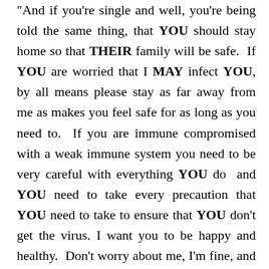And if you're single and well, you're being told the same thing, that YOU should stay home so that THEIR family will be safe.  If YOU are worried that I MAY infect YOU, by all means please stay as far away from me as makes you feel safe for as long as you need to.  If you are immune compromised with a weak immune system you need to be very careful with everything YOU do  and YOU need to take every precaution that YOU need to take to ensure that YOU don't get the virus. I want you to be happy and healthy.  Don't worry about me, I'm fine, and I am doing what I think is right for me.  Just don't tell me what you FEEL I SHOULD be doing, because I just may tell you WHERE TO GO AND WHAT TO DO!  This is still a free country